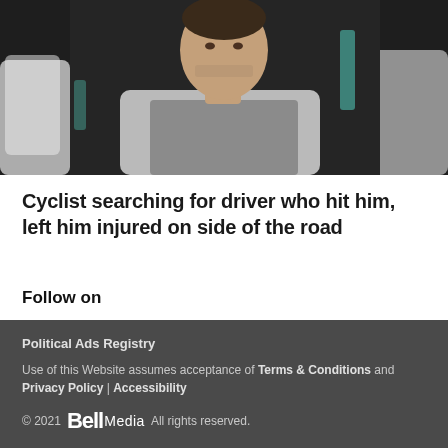[Figure (photo): Man in grey t-shirt sitting in a white chair in a dark studio setting, upper body visible, looking slightly off camera]
Cyclist searching for driver who hit him, left him injured on side of the road
Follow on
[Figure (infographic): Social media icons: Facebook, Twitter, Instagram]
Political Ads Registry
Use of this Website assumes acceptance of Terms & Conditions and Privacy Policy | Accessibility
© 2021 Bell Media All rights reserved.